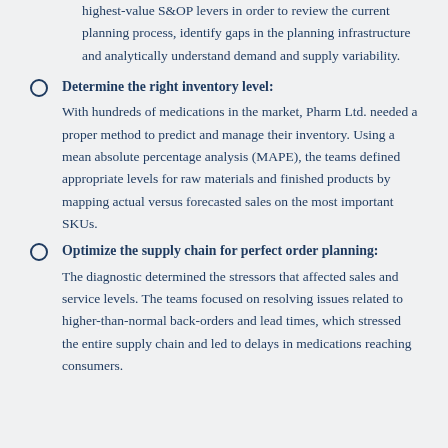highest-value S&OP levers in order to review the current planning process, identify gaps in the planning infrastructure and analytically understand demand and supply variability.
Determine the right inventory level: With hundreds of medications in the market, Pharm Ltd. needed a proper method to predict and manage their inventory. Using a mean absolute percentage analysis (MAPE), the teams defined appropriate levels for raw materials and finished products by mapping actual versus forecasted sales on the most important SKUs.
Optimize the supply chain for perfect order planning: The diagnostic determined the stressors that affected sales and service levels. The teams focused on resolving issues related to higher-than-normal back-orders and lead times, which stressed the entire supply chain and led to delays in medications reaching consumers.